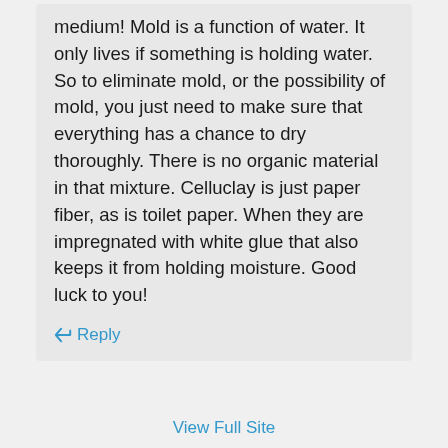medium! Mold is a function of water. It only lives if something is holding water. So to eliminate mold, or the possibility of mold, you just need to make sure that everything has a chance to dry thoroughly. There is no organic material in that mixture. Celluclay is just paper fiber, as is toilet paper. When they are impregnated with white glue that also keeps it from holding moisture. Good luck to you!
↪ Reply
View Full Site